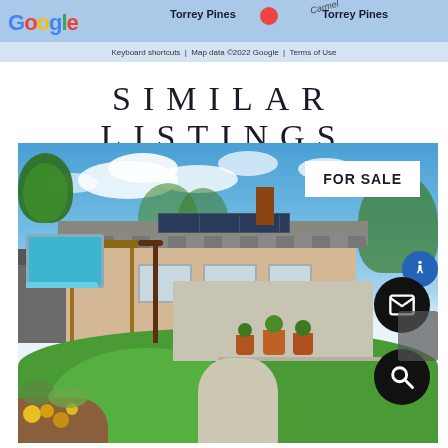[Figure (screenshot): Google Maps screenshot showing Torrey Pines area, with Google logo, map labels for Torrey Pines, keyboard shortcuts, map data copyright 2022 Google, and Terms of Use]
SIMILAR LISTINGS
[Figure (photo): Real estate listing photo of a single-story home with a pool, green lawn, solar panels on roof, brick chimney, patio with terracotta pots, and a flower garden in the foreground. A white FOR SALE badge appears in the upper right. Black circular buttons for email and search appear on the right side, plus a blue accessibility icon.]